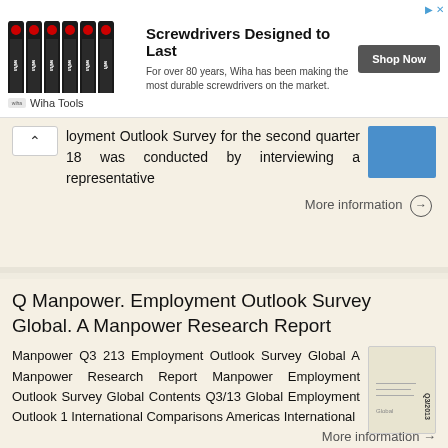[Figure (infographic): Advertisement banner for Wiha Tools screwdrivers with product image, headline, description, and Shop Now button]
loyment Outlook Survey for the second quarter 18 was conducted by interviewing a representative
More information →
Q Manpower. Employment Outlook Survey Global. A Manpower Research Report
Manpower Q3 213 Employment Outlook Survey Global A Manpower Research Report Manpower Employment Outlook Survey Global Contents Q3/13 Global Employment Outlook 1 International Comparisons Americas International
More information